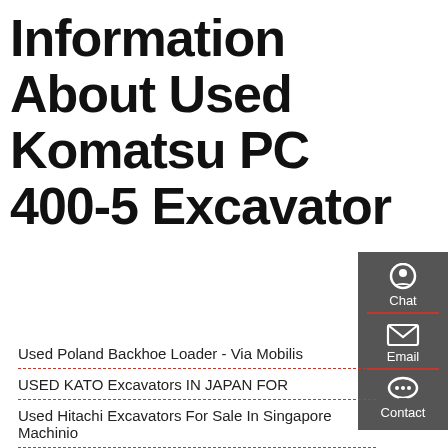Information About Used Komatsu PC 400-5 Excavator
Used Poland Backhoe Loader - Via Mobilis
USED KATO Excavators IN JAPAN FOR
Used Hitachi Excavators For Sale In Singapore Machinio
Used MAN Loader - 1 Second-Hand MAN Loader Ads On
Used Carter Excavator Quotation